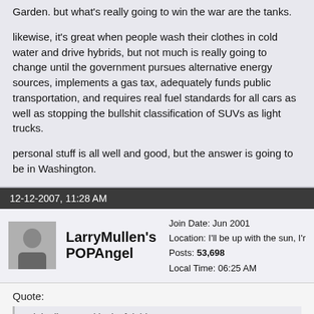Garden. but what's really going to win the war are the tanks.
likewise, it's great when people wash their clothes in cold water and drive hybrids, but not much is really going to change until the government pursues alternative energy sources, implements a gas tax, adequately funds public transportation, and requires real fuel standards for all cars as well as stopping the bullshit classification of SUVs as light trucks.
personal stuff is all well and good, but the answer is going to be in Washington.
12-12-2007, 11:28 AM
LarryMullen's POPAngel
Join Date: Jun 2001
Location: I'll be up with the sun, I'r
Posts: 53,698
Local Time: 06:25 AM
Quote:
Originally posted by joyfulgirl
A local dentist put up a wind turbine on her property and was sued by neighbors who found it ugly and thought it would devalue their pr... leaves me speechless.